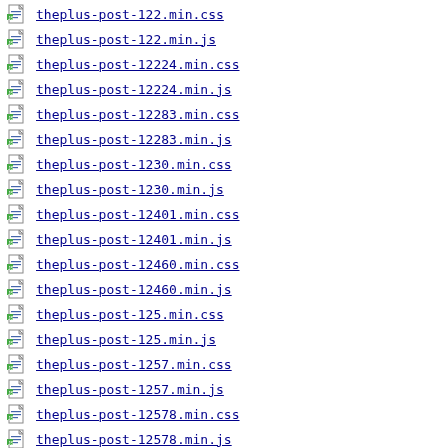theplus-post-122.min.css
theplus-post-122.min.js
theplus-post-12224.min.css
theplus-post-12224.min.js
theplus-post-12283.min.css
theplus-post-12283.min.js
theplus-post-1230.min.css
theplus-post-1230.min.js
theplus-post-12401.min.css
theplus-post-12401.min.js
theplus-post-12460.min.css
theplus-post-12460.min.js
theplus-post-125.min.css
theplus-post-125.min.js
theplus-post-1257.min.css
theplus-post-1257.min.js
theplus-post-12578.min.css
theplus-post-12578.min.js
theplus-post-1261...